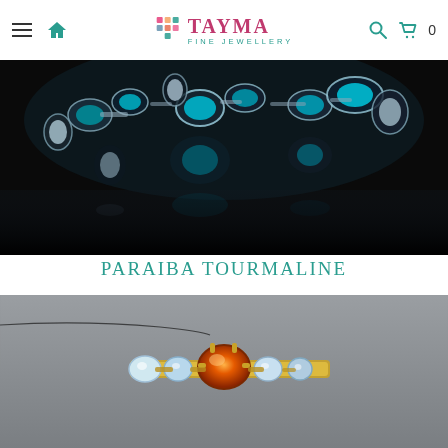Tayma Fine Jewellery — navigation header with hamburger menu, home icon, logo, search, and cart (0)
[Figure (photo): Close-up product photo of a jewellery piece featuring multiple teal/paraiba tourmaline gemstones set in silver, photographed on a dark/black background with reflections visible below.]
PARAIBA TOURMALINE
[Figure (photo): Partial product photo of a jewellery bracelet or bar piece with an orange gemstone (carnelian or fire opal) and smaller clear/blue stones set in gold-toned metal, on a grey textured background.]